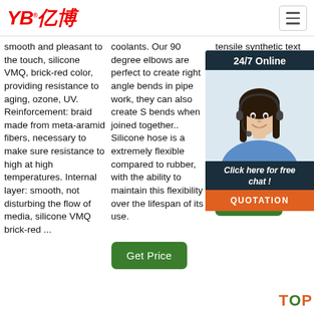YB亿博 logo and navigation
smooth and pleasant to the touch, silicone VMQ, brick-red color, providing resistance to aging, ozone, UV. Reinforcement: braid made from meta-aramid fibers, necessary to make sure resistance to high at high temperatures. Internal layer: smooth, not disturbing the flow of media, silicone VMQ brick-red ...
coolants. Our 90 degree elbows are perfect to create right angle bends in pipe work, they can also create S bends when joined together.. Silicone hose is a extremely flexible compared to rubber, with the ability to maintain this flexibility over the lifespan of its use.
tensile synthetic text add and hos hea whi suit hot app as i hea sys
[Figure (photo): 24/7 Online chat widget with customer service representative photo, 'Click here for free chat!' text, and orange QUOTATION button]
Get Price (green button, column 2)
Get Price (green button, column 3)
TOP